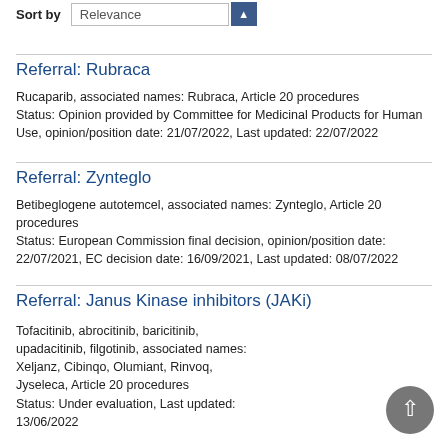Sort by Relevance
Referral: Rubraca
Rucaparib, associated names: Rubraca, Article 20 procedures
Status: Opinion provided by Committee for Medicinal Products for Human Use, opinion/position date: 21/07/2022, Last updated: 22/07/2022
Referral: Zynteglo
Betibeglogene autotemcel, associated names: Zynteglo, Article 20 procedures
Status: European Commission final decision, opinion/position date: 22/07/2021, EC decision date: 16/09/2021, Last updated: 08/07/2022
Referral: Janus Kinase inhibitors (JAKi)
Tofacitinib, abrocitinib, baricitinib, upadacitinib, filgotinib, associated names: Xeljanz, Cibinqo, Olumiant, Rinvoq, Jyseleca, Article 20 procedures
Status: Under evaluation, Last updated: 13/06/2022